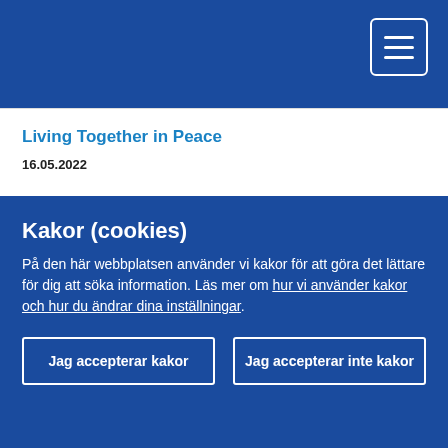Living Together in Peace
16.05.2022
"Beyond the frontier of the alphabets": Download this practical booklet for Ukrainian children adults - with visuals, in all EU languages
Kakor (cookies)
På den här webbplatsen använder vi kakor för att göra det lättare för dig att söka information. Läs mer om hur vi använder kakor och hur du ändrar dina inställningar.
Jag accepterar kakor
Jag accepterar inte kakor